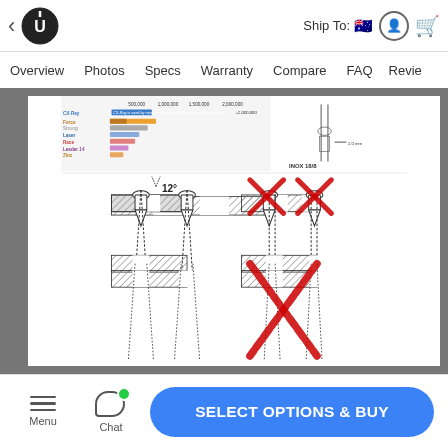Ship To: [AU flag] [user icon] [cart icon]
Overview | Photos | Specs | Warranty | Compare | FAQ | Reviews
[Figure (engineering-diagram): Bicycle spoke/nipple installation diagram showing correct (left, with 12° angle indicator) and incorrect (right, with red X marks) installation method through a rim cross-section. Also includes a small inset showing spoke comparison chart (CX-Ray, Force, Strong, Laser, Race, Leader 14, Zinc) and INOX 18/8 spoke end detail.]
SELECT OPTIONS & BUY
Menu | Chat | SELECT OPTIONS & BUY